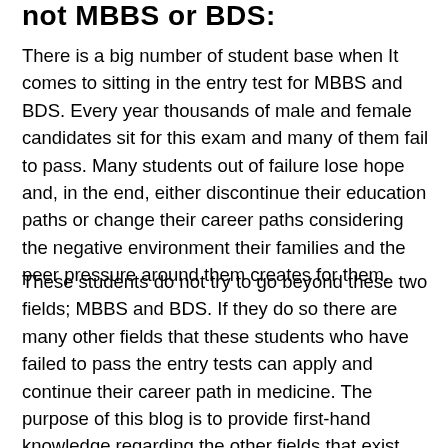not MBBS or BDS:
There is a big number of student base when It comes to sitting in the entry test for MBBS and BDS. Every year thousands of male and female candidates sit for this exam and many of them fail to pass. Many students out of failure lose hope and, in the end, either discontinue their education paths or change their career paths considering the negative environment their families and the peer pressure around them creates for them.
These students do not try to go beyond these two fields; MBBS and BDS. If they do so there are many other fields that these students who have failed to pass the entry tests can apply and continue their career path in medicine. The purpose of this blog is to provide first-hand knowledge regarding the other fields that exist beyond BDS and MBBS.